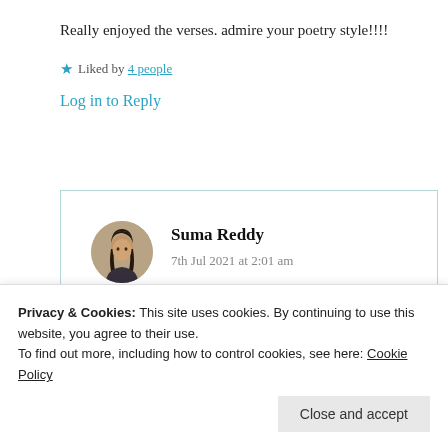Really enjoyed the verses. admire your poetry style!!!!
★ Liked by 4 people
Log in to Reply
[Figure (photo): Circular avatar photo of Suma Reddy, a person with dark hair]
Suma Reddy
7th Jul 2021 at 2:01 am
Privacy & Cookies: This site uses cookies. By continuing to use this website, you agree to their use.
To find out more, including how to control cookies, see here: Cookie Policy
Close and accept